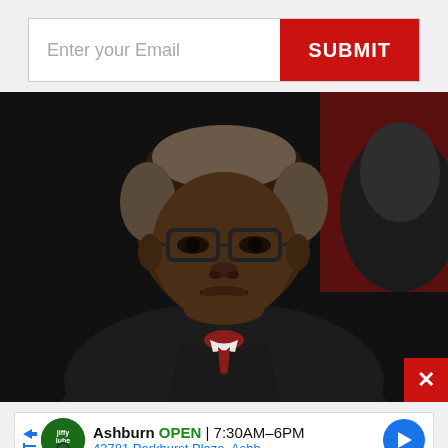[Figure (screenshot): Email subscription bar with text input field saying 'Enter your Email' and a red SUBMIT button]
[Figure (photo): Portrait photograph of a man wearing black judicial robes and dark-rimmed glasses, seated in front of a dark background with a red curtain visible]
[Figure (screenshot): Advertisement bar showing 'Ashburn OPEN 7:30AM-6PM, 43781 Parkhurst Plaza, Ashb...' with a green auto service logo and blue navigation arrow button]